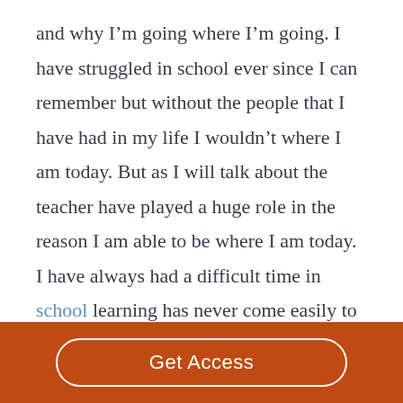and why I'm going where I'm going. I have struggled in school ever since I can remember but without the people that I have had in my life I wouldn't where I am today. But as I will talk about the teacher have played a huge role in the reason I am able to be where I am today. I have always had a difficult time in school learning has never come easily to me. When I was in elementary school I was really struggling and I
Get Access